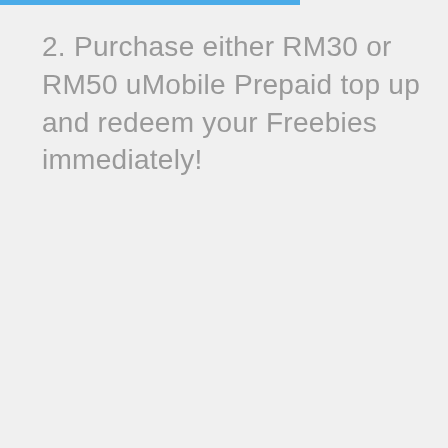2. Purchase either RM30 or RM50 uMobile Prepaid top up and redeem your Freebies immediately!